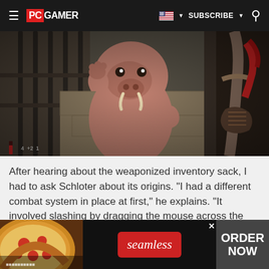PC GAMER — SUBSCRIBE
[Figure (screenshot): Video game screenshot showing a cartoon walrus/mole creature standing upright in a dungeon cell with iron bars, facing the viewer. A weapon is visible on the right side. Red health bar visible in lower left.]
After hearing about the weaponized inventory sack, I had to ask Schloter about its origins. "I had a different combat system in place at first," he explains. "It involved slashing by dragging the mouse across the screen. It did work but felt cumbersome and made th...
[Figure (advertisement): Seamless food delivery advertisement showing pizza on the left, 'seamless' red button in center, and 'ORDER NOW' button on right, on a dark background.]